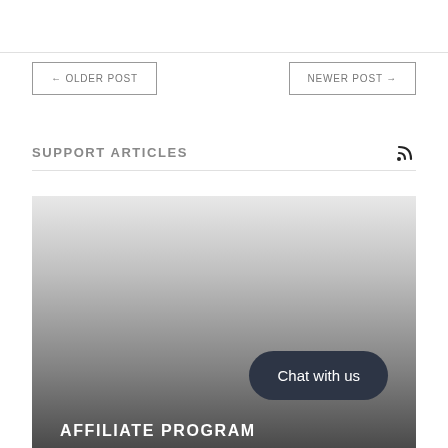← OLDER POST
NEWER POST →
SUPPORT ARTICLES
[Figure (photo): Dark gradient background image with 'AFFILIATE PROGRAM' text overlay at bottom left and a 'Chat with us' button at bottom right]
Chat with us
AFFILIATE PROGRAM